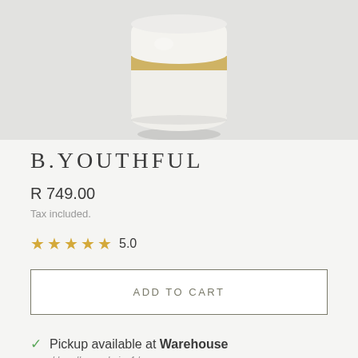[Figure (photo): Product photo of a white cream jar with gold band stripe on a light grey background, cropped at top]
B.YOUTHFUL
R 749.00
Tax included.
★★★★★ 5.0
ADD TO CART
Pickup available at Warehouse
Usually ready in 4 hours